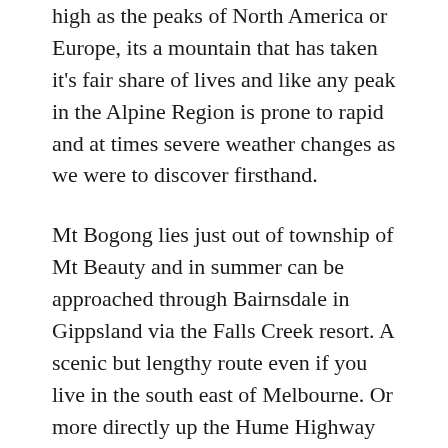high as the peaks of North America or Europe, its a mountain that has taken it's fair share of lives and like any peak in the Alpine Region is prone to rapid and at times severe weather changes as we were to discover firsthand.
Mt Bogong lies just out of township of Mt Beauty and in summer can be approached through Bairnsdale in Gippsland via the Falls Creek resort. A scenic but lengthy route even if you live in the south east of Melbourne. Or more directly up the Hume Highway and through Bright, a town famous for it spectacular autumn colour. Choosing the latter is about a 4 hour drive, not considering peak hour traffic.
It's Anzac Day and our fist glimpse of Bogong since our